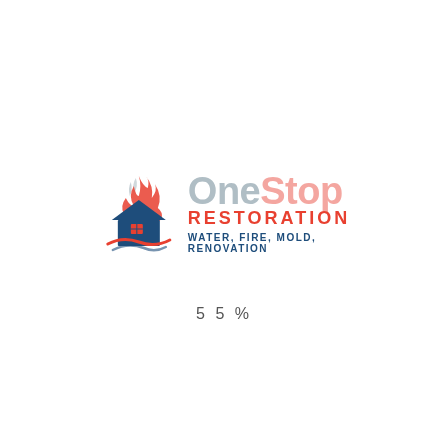[Figure (logo): One Stop Restoration logo with house/flame icon and text: OneStop RESTORATION, WATER, FIRE, MOLD, RENOVATION]
55%